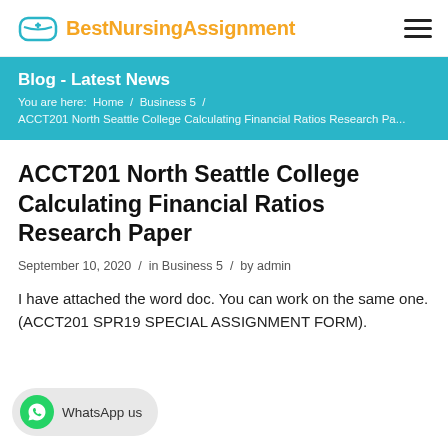BestNursingAssignment
Blog - Latest News
You are here: Home / Business 5 / ACCT201 North Seattle College Calculating Financial Ratios Research Pa...
ACCT201 North Seattle College Calculating Financial Ratios Research Paper
September 10, 2020 / in Business 5 / by admin
I have attached the word doc. You can work on the same one. (ACCT201 SPR19 SPECIAL ASSIGNMENT FORM).